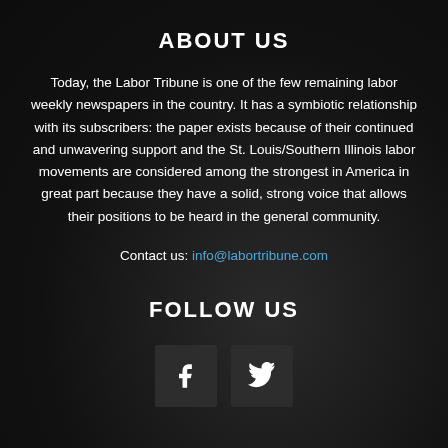ABOUT US
Today, the Labor Tribune is one of the few remaining labor weekly newspapers in the country. It has a symbiotic relationship with its subscribers: the paper exists because of their continued and unwavering support and the St. Louis/Southern Illinois labor movements are considered among the strongest in America in great part because they have a solid, strong voice that allows their positions to be heard in the general community.
Contact us: info@labortribune.com
FOLLOW US
[Figure (illustration): Two social media icon buttons: Facebook (f) and Twitter (bird icon), displayed as dark square buttons]